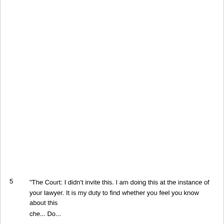5  "The Court: I didn't invite this. I am doing this at the instance of your lawyer. It is my duty to find whether you feel you know about this che... Do...